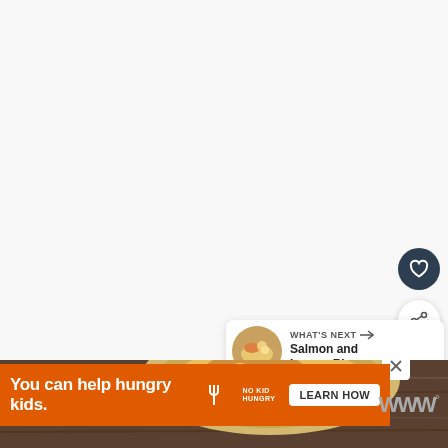[Figure (screenshot): White/light gray blank upper area of a webpage, showing the background]
[Figure (illustration): Dark navy circular heart/favorite button icon on right side]
[Figure (illustration): White circular share button with plus icon on right side]
WHAT'S NEXT → Salmon and Lemon Rice...
[Figure (photo): Food photo thumbnail showing salmon and lemon rice dish in a circle]
[Figure (photo): Bottom strip showing a food dish on a wooden surface, partially visible]
You can help hungry kids.
[Figure (logo): No Kid Hungry logo (fork icon with text)]
LEARN HOW
WWW°